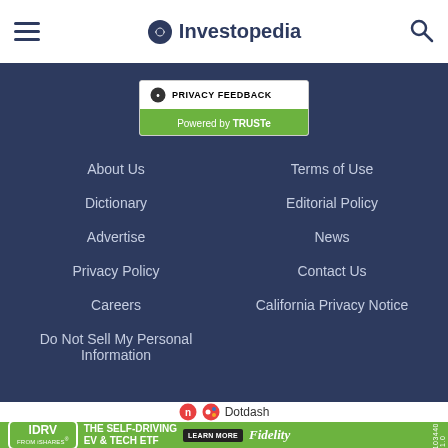Investopedia
[Figure (logo): Privacy Feedback powered by TRUSTe badge]
About Us
Terms of Use
Dictionary
Editorial Policy
Advertise
News
Privacy Policy
Contact Us
Careers
California Privacy Notice
Do Not Sell My Personal Information
[Figure (logo): Dotdash logo]
[Figure (infographic): IDRV from iShares - The Self-Driving EV & Tech ETF - Learn More - Fidelity advertisement banner]